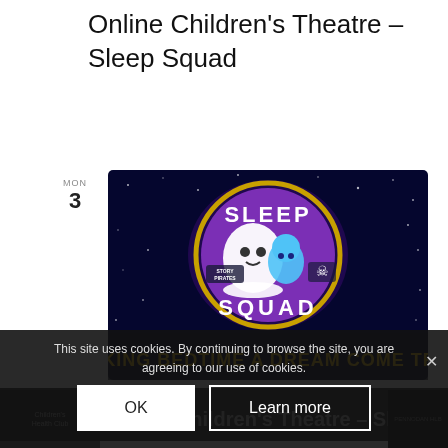Online Children's Theatre – Sleep Squad
MON
3
[Figure (illustration): Sleep Squad promotional image: dark blue starry background with a purple circular logo showing cartoon ghost characters, text 'SLEEP SQUAD' at top, 'MAKING BEDTIME A DREAM COME TRUE' in yellow bold text at bottom. Also shows 'Story Pirates' and pirate skull-and-crossbones logos.]
October 3
Online Children's Theatre – Sleep
This site uses cookies. By continuing to browse the site, you are agreeing to our use of cookies.
OK
Learn more